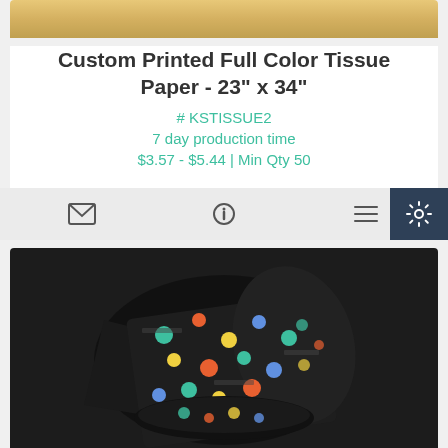[Figure (photo): Top portion of a wooden surface product image (cropped)]
Custom Printed Full Color Tissue Paper - 23" x 34"
# KSTISSUE2
7 day production time
$3.57 - $5.44 | Min Qty 50
[Figure (other): Toolbar with envelope icon, info icon, and list icon, plus a dark settings gear button on right]
[Figure (photo): Black wrapping paper with colorful polka dots folded and rolled]
Bright Birthday Reversible Wrapping